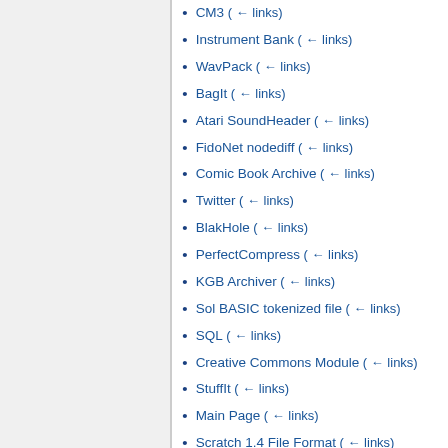CM3  (← links)
Instrument Bank  (← links)
WavPack  (← links)
BagIt  (← links)
Atari SoundHeader  (← links)
FidoNet nodediff  (← links)
Comic Book Archive  (← links)
Twitter  (← links)
BlakHole  (← links)
PerfectCompress  (← links)
KGB Archiver  (← links)
Sol BASIC tokenized file  (← links)
SQL  (← links)
Creative Commons Module  (← links)
StuffIt  (← links)
Main Page  (← links)
Scratch 1.4 File Format  (← links)
Scratch 2.0 File Format  (← links)
Greenleaf ArchiveLib  (← links)
IPA  (← links)
LHA  (← links)
EGG (ALZip)  (← links)